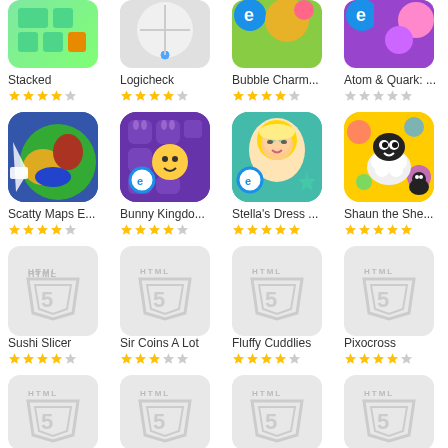[Figure (screenshot): App store grid showing mobile games and HTML5 game placeholders]
Stacked ★★★★☆
Logicheck ★★★★☆
Bubble Charm... ★★★★☆
Atom & Quark: ... ★★★★☆
Scatty Maps E... ★★★★☆
Bunny Kingdo... ★★★★☆
Stella's Dress ... ★★★★★
Shaun the She... ★★★★★
Sushi Slicer ★★★★☆
Sir Coins A Lot ★★★☆☆
Fluffy Cuddlies ★★★★☆
Pixocross ★★★★☆